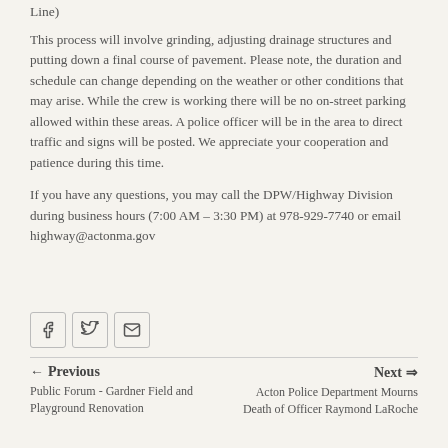Line)
This process will involve grinding, adjusting drainage structures and putting down a final course of pavement. Please note, the duration and schedule can change depending on the weather or other conditions that may arise. While the crew is working there will be no on-street parking allowed within these areas. A police officer will be in the area to direct traffic and signs will be posted. We appreciate your cooperation and patience during this time.
If you have any questions, you may call the DPW/Highway Division during business hours (7:00 AM – 3:30 PM) at 978-929-7740 or email highway@actonma.gov
[Figure (other): Social sharing buttons: Facebook, Twitter, Email]
Previous: Public Forum - Gardner Field and Playground Renovation | Next: Acton Police Department Mourns Death of Officer Raymond LaRoche